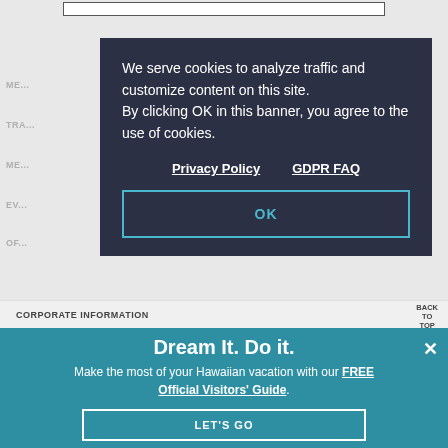ME...
TRA...
ME...
EV...
OF...
We serve cookies to analyze traffic and customize content on this site. By clicking OK in this banner, you agree to the use of cookies.
Privacy Policy    GDPR FAQ
OK
CORPORATE INFORMATION
BACK TO TOP
TRAVELERS WITH DISABILITIES
Dream It. Do it.
Make the most of your Hawaiian vacation with our FREE Official Visitors' Guide.
TRAVEL TIPS
LET'S GO
SIGN UP FOR OUR E-NEWSLETTER